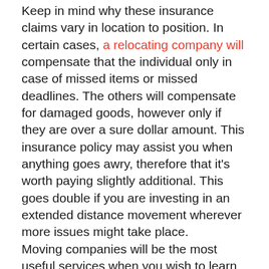Keep in mind why these insurance claims vary in location to position. In certain cases, a relocating company will compensate that the individual only in case of missed items or missed deadlines. The others will compensate for damaged goods, however only if they are over a sure dollar amount. This insurance policy may assist you when anything goes awry, therefore that it's worth paying slightly additional. This goes double if you are investing in an extended distance movement wherever more issues might take place.
Moving companies will be the most useful services when you wish to learn how to proceed towns. It isn't always simple to discover the perfect solution, however, depending upon online critiques, personalized recommendations, and fulfilling them in person will be able to help you create the ideal decision.
How to transfer cities
Shifting is a daunting job and can consume the